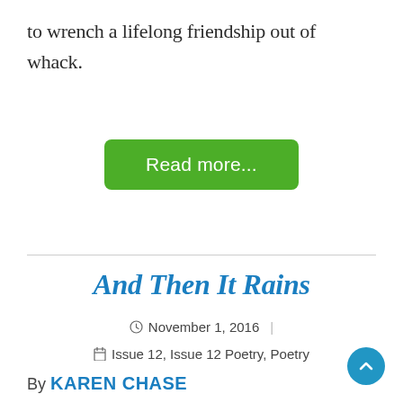to wrench a lifelong friendship out of whack.
Read more...
And Then It Rains
November 1, 2016
Issue 12, Issue 12 Poetry, Poetry
By KAREN CHASE